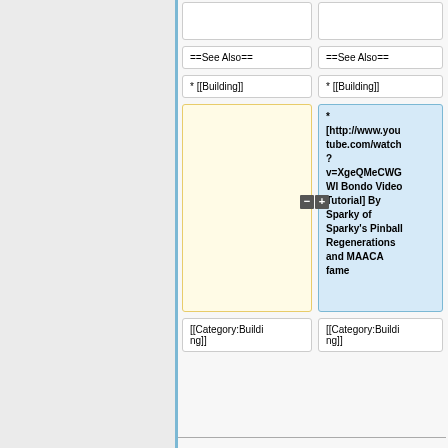==See Also==
* [[Building]]
==See Also==
* [[Building]]
* [http://www.youtube.com/watch?v=XgeQMeCWGWI Bondo Video Tutorial] By Sparky of Sparky's Pinball Regenerations and MAACA fame
[[Category:Building]]
[[Category:Building]]